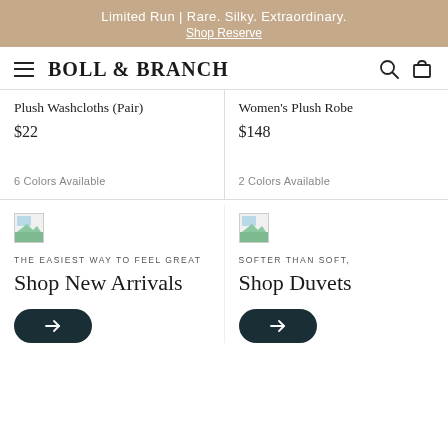Limited Run | Rare. Silky. Extraordinary. Shop Reserve
[Figure (logo): Boll & Branch logo with hamburger menu, search icon, and cart icon]
Plush Washcloths (Pair)
$22
6 Colors Available
Women's Plush Robe
$148
2 Colors Available
[Figure (photo): Small broken image placeholder]
THE EASIEST WAY TO FEEL GREAT
Shop New Arrivals
[Figure (photo): Small broken image placeholder]
SOFTER THAN SOFT,
Shop Duvets